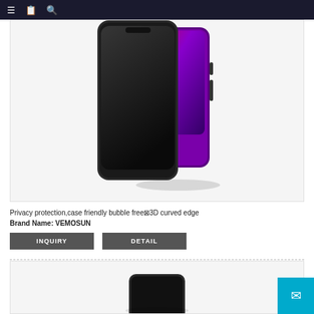Navigation bar with menu, bookmark, and search icons
[Figure (photo): Product photo showing two smartphones stacked, one black privacy screen protector on front, one purple/dark smartphone behind it, on a light gray background]
Privacy protection,case friendly bubble free⊠3D curved edge
Brand Name: VEMOSUN
INQUIRY
DETAIL
[Figure (photo): Partial product photo showing a smartphone with screen protector, bottom portion of image, on light gray background]